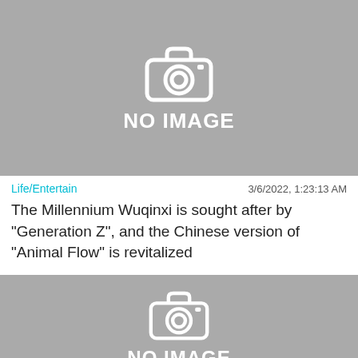[Figure (other): Gray placeholder image with camera icon and 'NO IMAGE' text]
Life/Entertain    3/6/2022, 1:23:13 AM
The Millennium Wuqinxi is sought after by "Generation Z", and the Chinese version of "Animal Flow" is revitalized
[Figure (other): Gray placeholder image with camera icon and 'NO IMAGE' text (partial)]